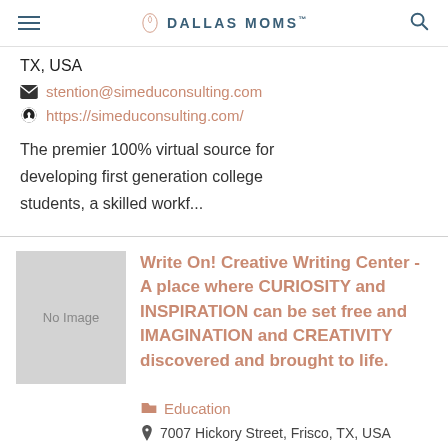DALLAS MOMS
TX, USA
stention@simeduconsulting.com
https://simeduconsulting.com/
The premier 100% virtual source for developing first generation college students, a skilled workf...
Write On! Creative Writing Center - A place where CURIOSITY and INSPIRATION can be set free and IMAGINATION and CREATIVITY discovered and brought to life.
Education
7007 Hickory Street, Frisco, TX, USA